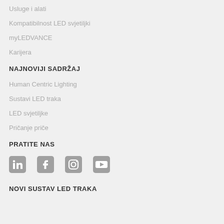Usluge i alati
Kompatibilnost LED svjetiljki
myLEDVANCE
Karijera
NAJNOVIJI SADRŽAJ
Human Centric Lighting
Sustavi LED traka
LED svjetiljke
Pričanje priče
PRATITE NAS
[Figure (illustration): Social media icons: LinkedIn, Facebook, Instagram, YouTube]
NOVI SUSTAV LED TRAKA